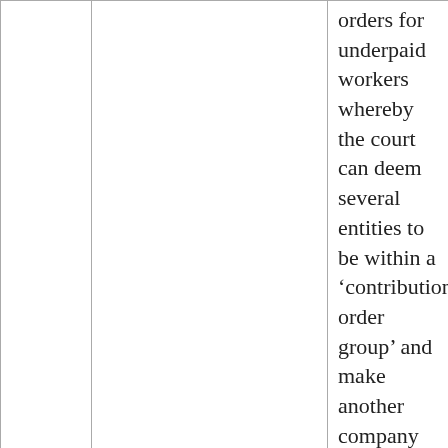|  |  | orders for underpaid workers whereby the court can deem several entities to be within a ‘contribution order group’ and make another company liable for the unpaid entitlements |